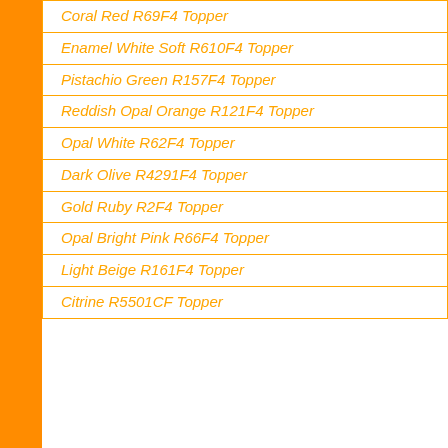| Coral Red R69F4 Topper |
| Enamel White Soft R610F4 Topper |
| Pistachio Green R157F4 Topper |
| Reddish Opal Orange R121F4 Topper |
| Opal White R62F4 Topper |
| Dark Olive R4291F4 Topper |
| Gold Ruby R2F4 Topper |
| Opal Bright Pink R66F4 Topper |
| Light Beige R161F4 Topper |
| Citrine R5501CF Topper |